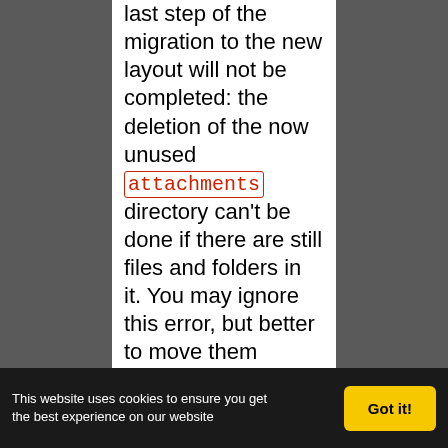last step of the migration to the new layout will not be completed: the deletion of the now unused attachments directory can't be done if there are still files and folders in it. You may ignore this error, but better to move them elsewhere and remove the attachments directory manually. The attachments themselves are now all located in your environment
This website uses cookies to ensure you get the best experience on our website